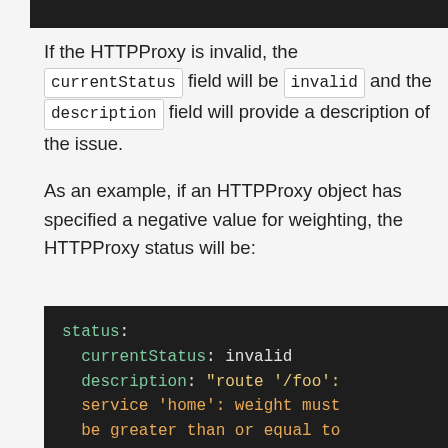[Figure (screenshot): Dark code block (partial, top of page) showing code content cut off]
If the HTTPProxy is invalid, the currentStatus field will be invalid and the description field will provide a description of the issue.
As an example, if an HTTPProxy object has specified a negative value for weighting, the HTTPProxy status will be:
[Figure (screenshot): Dark code block showing YAML: status: currentStatus: invalid, description: "route '/foo': service 'home': weight must be greater than or equal to"]